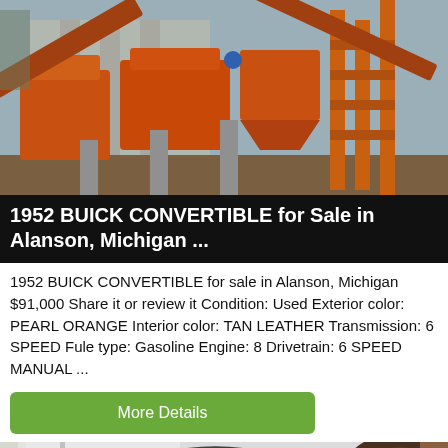[Figure (photo): Industrial orange mining or crushing equipment with conveyor belts, metal scaffolding and a concrete building in the background]
1952 BUICK CONVERTIBLE for Sale in Alanson, Michigan ...
1952 BUICK CONVERTIBLE for sale in Alanson, Michigan $91,000 Share it or review it Condition: Used Exterior color: PEARL ORANGE Interior color: TAN LEATHER Transmission: 6 SPEED Fule type: Gasoline Engine: 8 Drivetrain: 6 SPEED MANUAL ...
More Details
[Figure (photo): Partial photo showing industrial machinery including what appears to be a large gear and some equipment in a workshop setting]